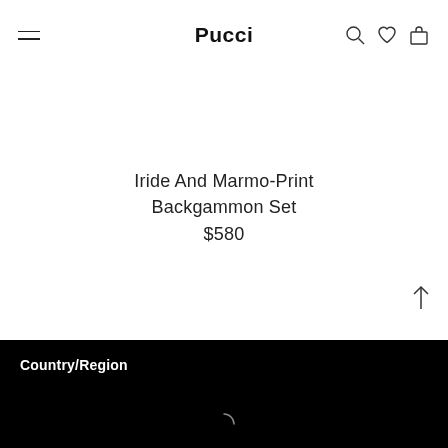Pucci
Iride And Marmo-Print Backgammon Set
$580
Country/Region